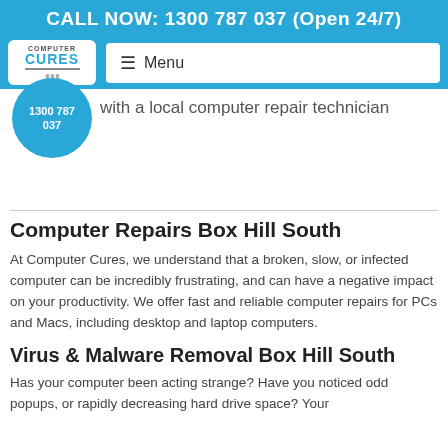CALL NOW: 1300 787 037 (Open 24/7)
[Figure (logo): Computer Cures logo — white box with 'COMPUTER' in grey and 'CURES' in blue, monitor icon below]
≡  Menu
1300 787 037
with a local computer repair technician
Computer Repairs Box Hill South
At Computer Cures, we understand that a broken, slow, or infected computer can be incredibly frustrating, and can have a negative impact on your productivity. We offer fast and reliable computer repairs for PCs and Macs, including desktop and laptop computers.
Virus & Malware Removal Box Hill South
Has your computer been acting strange? Have you noticed odd popups, or rapidly decreasing hard drive space? Your